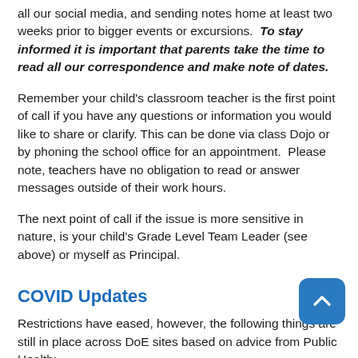all our social media, and sending notes home at least two weeks prior to bigger events or excursions. To stay informed it is important that parents take the time to read all our correspondence and make note of dates.
Remember your child's classroom teacher is the first point of call if you have any questions or information you would like to share or clarify. This can be done via class Dojo or by phoning the school office for an appointment. Please note, teachers have no obligation to read or answer messages outside of their work hours.
The next point of call if the issue is more sensitive in nature, is your child's Grade Level Team Leader (see above) or myself as Principal.
COVID Updates
Restrictions have eased, however, the following things are still in place across DoE sites based on advice from Public Health: